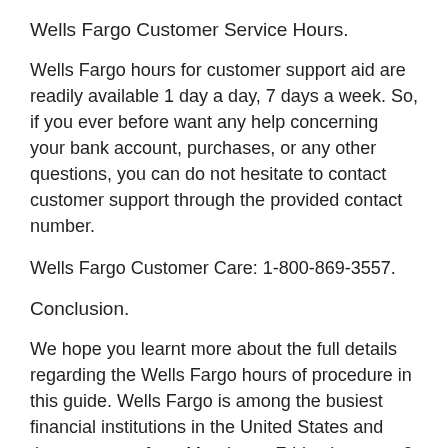Wells Fargo Customer Service Hours.
Wells Fargo hours for customer support aid are readily available 1 day a day, 7 days a week. So, if you ever before want any help concerning your bank account, purchases, or any other questions, you can do not hesitate to contact customer support through the provided contact number.
Wells Fargo Customer Care: 1-800-869-3557.
Conclusion.
We hope you learnt more about the full details regarding the Wells Fargo hours of procedure in this guide. Wells Fargo is among the busiest financial institutions in the United States and they are open from Monday to Friday between 9 a.m. and also 5 p.m. The financial institutions will be closed on Sundays and